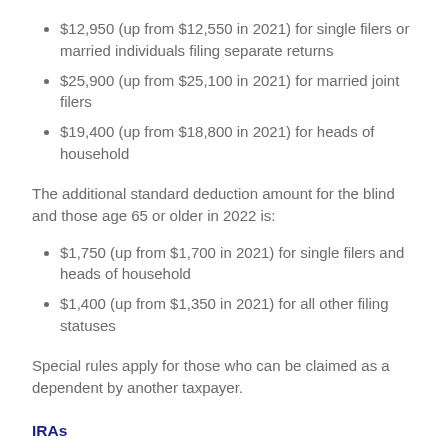$12,950 (up from $12,550 in 2021) for single filers or married individuals filing separate returns
$25,900 (up from $25,100 in 2021) for married joint filers
$19,400 (up from $18,800 in 2021) for heads of household
The additional standard deduction amount for the blind and those age 65 or older in 2022 is:
$1,750 (up from $1,700 in 2021) for single filers and heads of household
$1,400 (up from $1,350 in 2021) for all other filing statuses
Special rules apply for those who can be claimed as a dependent by another taxpayer.
IRAs
The combined annual limit on contributions to